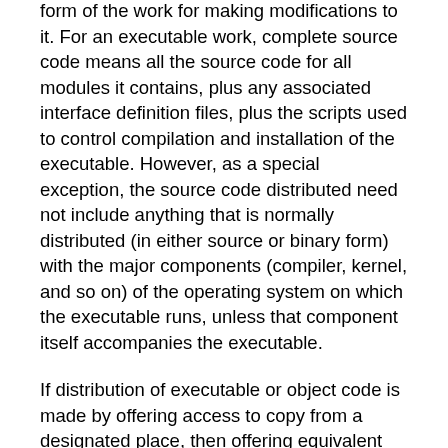form of the work for making modifications to it. For an executable work, complete source code means all the source code for all modules it contains, plus any associated interface definition files, plus the scripts used to control compilation and installation of the executable. However, as a special exception, the source code distributed need not include anything that is normally distributed (in either source or binary form) with the major components (compiler, kernel, and so on) of the operating system on which the executable runs, unless that component itself accompanies the executable.
If distribution of executable or object code is made by offering access to copy from a designated place, then offering equivalent access to copy the source code from the same place counts as distribution of the source code, even though third parties are not compelled to copy the source along with the object code.
4. You may not copy, modify, sublicense, or distribute the Program except as expressly provided under this License. Any attempt otherwise to copy, modify, sublicense or distribute the Program is void, and will